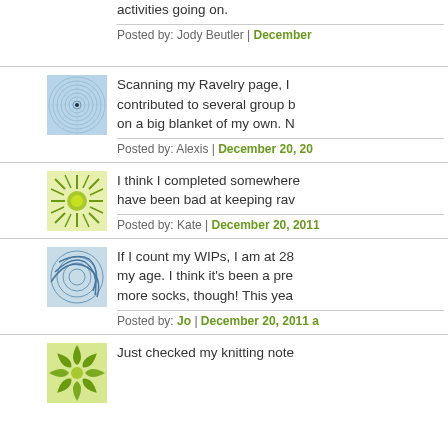activities going on.
Posted by: Jody Beutler | December
[Figure (illustration): Circular spiral avatar image with blue tones on light blue background]
Scanning my Ravelry page, I contributed to several group b on a big blanket of my own. N
Posted by: Alexis | December 20, 20
[Figure (illustration): Circular sunburst avatar with green center on green/white background]
I think I completed somewhere have been bad at keeping rav
Posted by: Kate | December 20, 2011
[Figure (illustration): Curved spiral avatar with blue tones on light blue/white background]
If I count my WIPs, I am at 28 my age. I think it's been a pre more socks, though! This yea
Posted by: Jo | December 20, 2011 a
[Figure (illustration): Floral/leaf pattern avatar with green tones on yellow/green background]
Just checked my knitting note